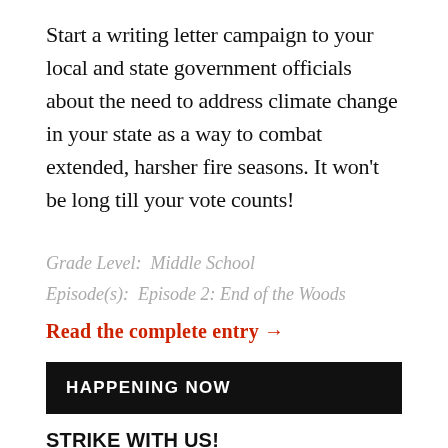Start a writing letter campaign to your local and state government officials about the need to address climate change in your state as a way to combat extended, harsher fire seasons. It won't be long till your vote counts!
Grade Level: Middle School
Episode(s): Episode 2: End of the Woods
Read the complete entry →
HAPPENING NOW
STRIKE WITH US! #FRIDAYSFORFUTURE
On Friday, September 20th, millions of people from around the world will walk out of their schools and